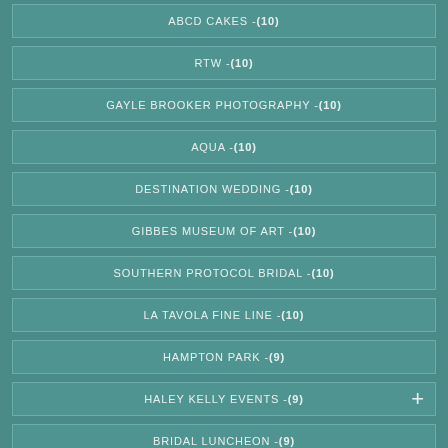ABCD CAKES - (10)
RTW - (10)
GAYLE BROOKER PHOTOGRAPHY - (10)
AQUA - (10)
DESTINATION WEDDING - (10)
GIBBES MUSEUM OF ART - (10)
SOUTHERN PROTOCOL BRIDAL - (10)
LA TAVOLA FINE LINE - (10)
HAMPTON PARK - (9)
HALEY KELLY EVENTS - (9)
BRIDAL LUNCHEON - (9)